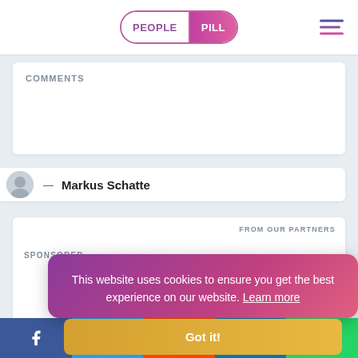PEOPLE PILL
COMMENTS
Markus Schatte
FROM OUR PARTNERS
SPONSORED
This website uses cookies to ensure you get the best experience on our website. Learn more
Got it!
Facebook Twitter Reddit LinkedIn WhatsApp